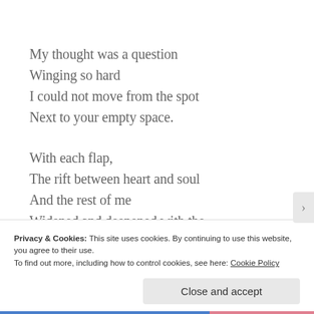My thought was a question
Winging so hard
I could not move from the spot
Next to your empty space.
With each flap,
The rift between heart and soul
And the rest of me
Widened and deepened with the knowledge–
Privacy & Cookies: This site uses cookies. By continuing to use this website, you agree to their use.
To find out more, including how to control cookies, see here: Cookie Policy
Close and accept